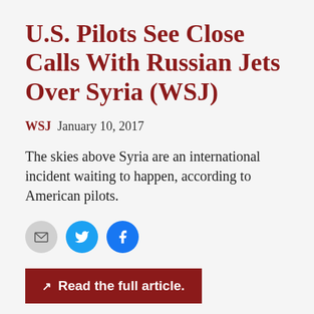U.S. Pilots See Close Calls With Russian Jets Over Syria (WSJ)
WSJ  January 10, 2017
The skies above Syria are an international incident waiting to happen, according to American pilots.
[Figure (other): Social share buttons: email (grey circle), Twitter (blue circle with bird icon), Facebook (blue circle with f icon)]
Read the full article.
Legitimate Differences (Paul Grenier)